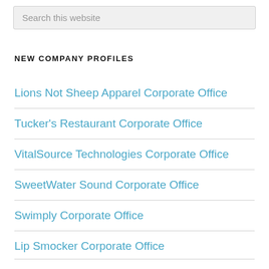Search this website
NEW COMPANY PROFILES
Lions Not Sheep Apparel Corporate Office
Tucker's Restaurant Corporate Office
VitalSource Technologies Corporate Office
SweetWater Sound Corporate Office
Swimply Corporate Office
Lip Smocker Corporate Office